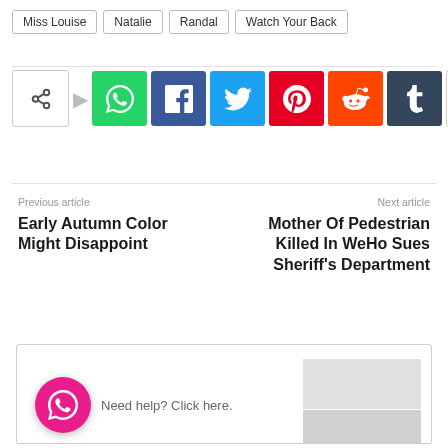Miss Louise
Natalie
Randal
Watch Your Back
[Figure (infographic): Social share bar with icons for WhatsApp, Facebook, Twitter, Pinterest, Reddit, Tumblr, and a plus button]
Previous article
Early Autumn Color Might Disappoint
Next article
Mother Of Pedestrian Killed In WeHo Sues Sheriff's Department
[Figure (screenshot): WhatsApp help widget with pink circle icon and 'Need help? Click here.' text, next to a grayscale thumbnail image]